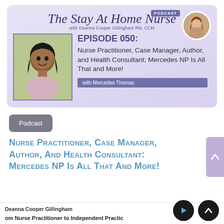[Figure (infographic): Podcast banner for 'The Stay At Home Nurse' featuring EPISODE 050 with guest Mercedes Thomas. Includes host photo (Deanna Cooper Gillingham RN, CCM) and guest photo.]
EPISODE 050: Nurse Practitioner, Case Manager, Author, and Health Consultant; Mercedes NP Is All That and More!
with Mercedes Thomas
Podcast
Nurse Practitioner, Case Manager, Author, and Health Consultant: Mercedes NP Is All That and More!
Deanna Cooper Gillingham
om Nurse Practitioner to Independent Practic